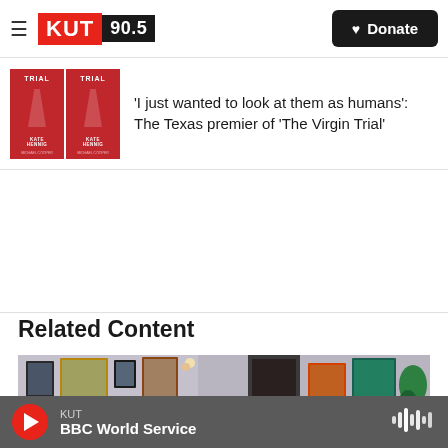KUT 90.5 | Donate
'I just wanted to look at them as humans': The Texas premier of 'The Virgin Trial'
Related Content
[Figure (photo): A person with curly hair viewed from behind, standing in front of a wall covered with framed photographs and colorful artwork.]
KUT
BBC World Service